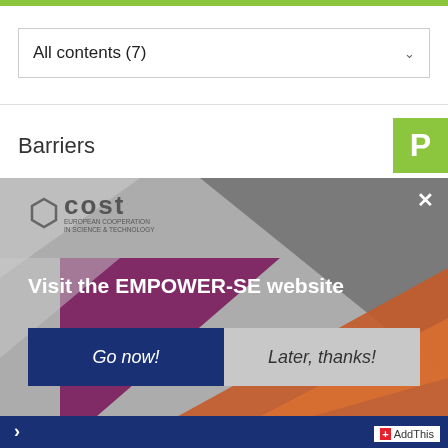[Figure (screenshot): Green horizontal bar at top of page]
All contents (7)
Barriers
[Figure (screenshot): COST European Cooperation in Science & Technology modal popup with 'Visit the EMPOWER-SE website' heading, geometric colored background shapes, 'Go now!' and 'Later, thanks!' buttons, and AddThis badge at bottom right]